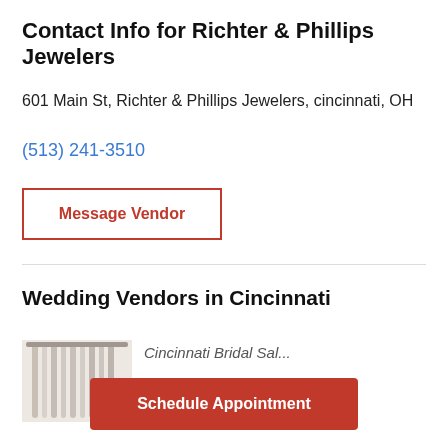Contact Info for Richter & Phillips Jewelers
601 Main St, Richter & Phillips Jewelers, cincinnati, OH
(513) 241-3510
Message Vendor
Wedding Vendors in Cincinnati
[Figure (photo): Photo of a wedding dress or bridal gown display]
Cincinnati Bridal Sal...
Schedule Appointment